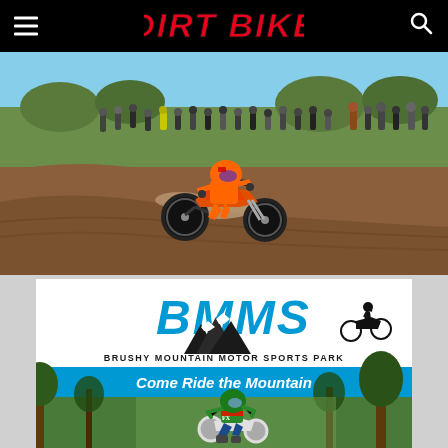DIRT BIKE
[Figure (photo): Motocross rider on an orange KTM dirt bike racing through a sandy/dirt berm corner with spectators watching in the background on a hillside]
[Figure (photo): BMMS Brushy Mountain Motor Sports Park advertisement banner showing logo with mountain graphic and rider silhouette, tagline 'Come Ride the Mountain', and a photo of a dirt bike rider in green/red gear riding through a wooded trail]